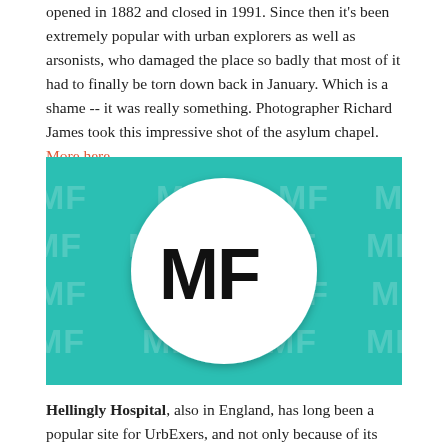opened in 1882 and closed in 1991. Since then it's been extremely popular with urban explorers as well as arsonists, who damaged the place so badly that most of it had to finally be torn down back in January. Which is a shame -- it was really something. Photographer Richard James took this impressive shot of the asylum chapel. More here.
[Figure (logo): Teal/turquoise background with repeating watermark 'MF' text, centered white circle containing bold black 'MF' logo letters]
Hellingly Hospital, also in England, has long been a popular site for UrbExers, and not only because of its name. From